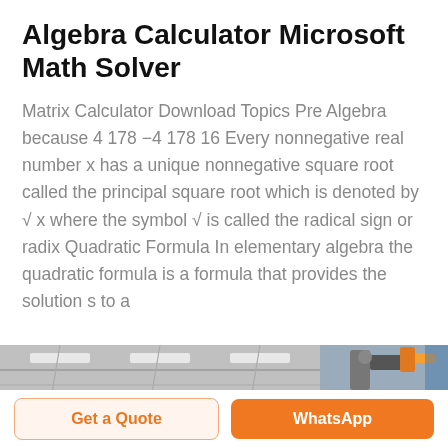Algebra Calculator Microsoft Math Solver
Matrix Calculator Download Topics Pre Algebra because 4 178 −4 178 16 Every nonnegative real number x has a unique nonnegative square root called the principal square root which is denoted by √ x where the symbol √ is called the radical sign or radix Quadratic Formula In elementary algebra the quadratic formula is a formula that provides the solution s to a
[Figure (photo): Industrial warehouse interior with ceiling lights and robotic arm equipment visible on the right side]
Get a Quote
WhatsApp